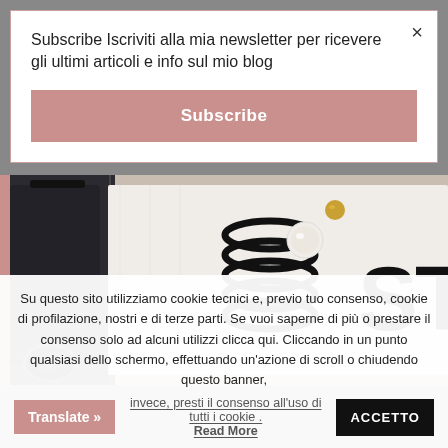Subscribe Iscriviti alla mia newsletter per ricevere gli ultimi articoli e info sul mio blog
Subscribe
[Figure (photo): Photo of travel luggage and hair accessories (black elastic hair rings with pearl) on a white fabric tote bag with 'STRONG' text]
Su questo sito utilizziamo cookie tecnici e, previo tuo consenso, cookie di profilazione, nostri e di terze parti. Se vuoi saperne di più o prestare il consenso solo ad alcuni utilizzi clicca qui. Cliccando in un punto qualsiasi dello schermo, effettuando un'azione di scroll o chiudendo questo banner,
invece, presti il consenso all'uso di tutti i cookie .
Translate »
ACCETTO
Read More